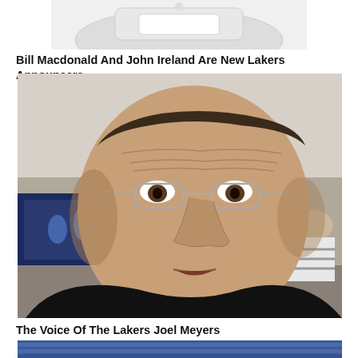[Figure (photo): Partial view of a white object, possibly a device or product, cropped at top of page]
Bill Macdonald And John Ireland Are New Lakers Announcers
[Figure (photo): Close-up photo of a middle-aged man with glasses wearing a black shirt, identified as Joel Meyers, the voice of the Lakers. People are visible in the background at what appears to be a press or media event.]
The Voice Of The Lakers Joel Meyers
[Figure (photo): Partial view of blue stadium seats at the bottom of the page]